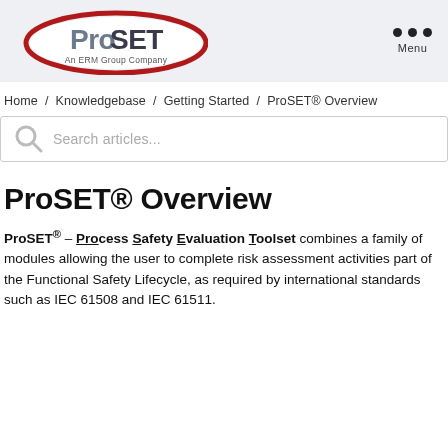[Figure (logo): ProSET logo — oval with dark red border, text 'ProSET' in grey/dark with 'An ERM Group Company' below]
Menu
Home / Knowledgebase / Getting Started / ProSET® Overview
Search articles...
ProSET® Overview
ProSET® – Process Safety Evaluation Toolset combines a family of modules allowing the user to complete risk assessment activities part of the Functional Safety Lifecycle, as required by international standards such as IEC 61508 and IEC 61511.